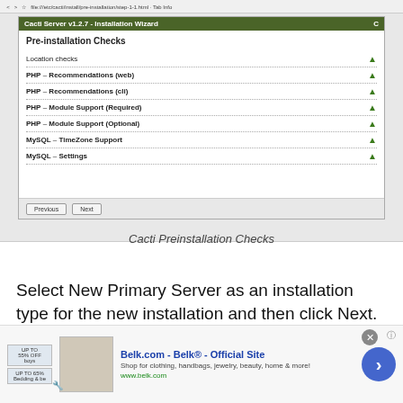[Figure (screenshot): Screenshot of Cacti Server v1.2.7 Installation Wizard showing Pre-installation Checks panel with items: Location checks, PHP - Recommendations (web), PHP - Recommendations (cli), PHP - Module Support (Required), PHP - Module Support (Optional), MySQL - TimeZone Support, MySQL - Settings — all showing green checkmark icons. Previous and Next buttons at bottom.]
Cacti Preinstallation Checks
Select New Primary Server as an installation type for the new installation and then click Next.
[Figure (screenshot): Advertisement banner for Belk.com - Belk® - Official Site showing product image, ad text, URL www.belk.com, and a circular arrow button. Has close X button and info icon.]